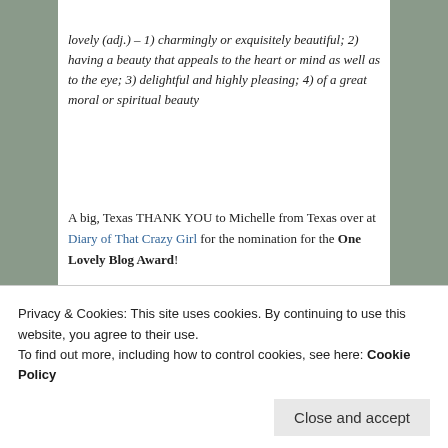lovely (adj.) – 1) charmingly or exquisitely beautiful; 2) having a beauty that appeals to the heart or mind as well as to the eye; 3) delightful and highly pleasing; 4) of a great moral or spiritual beauty
A big, Texas THANK YOU to Michelle from Texas over at Diary of That Crazy Girl for the nomination for the One Lovely Blog Award!
[Figure (illustration): Image showing the word 'Rules' in large serif font with a red heart graphic, and beneath it the cursive text 'One Lovely Blog Award']
Privacy & Cookies: This site uses cookies. By continuing to use this website, you agree to their use. To find out more, including how to control cookies, see here: Cookie Policy